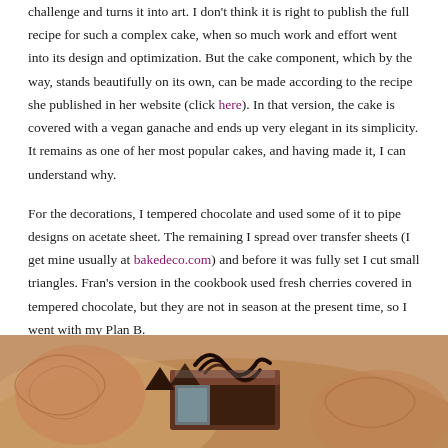challenge and turns it into art. I don't think it is right to publish the full recipe for such a complex cake, when so much work and effort went into its design and optimization. But the cake component, which by the way, stands beautifully on its own, can be made according to the recipe she published in her website (click here). In that version, the cake is covered with a vegan ganache and ends up very elegant in its simplicity. It remains as one of her most popular cakes, and having made it, I can understand why.
For the decorations, I tempered chocolate and used some of it to pipe designs on acetate sheet. The remaining I spread over transfer sheets (I get mine usually at bakedeco.com) and before it was fully set I cut small triangles. Fran's version in the cookbook used fresh cherries covered in tempered chocolate, but they are not in season at the present time, so I went with my Plan B.
[Figure (photo): Photo of a chocolate decorated cake slice on a plate, showing dark chocolate piped designs and chocolate-covered decorations, on a warm brown background with decorative placemats visible.]